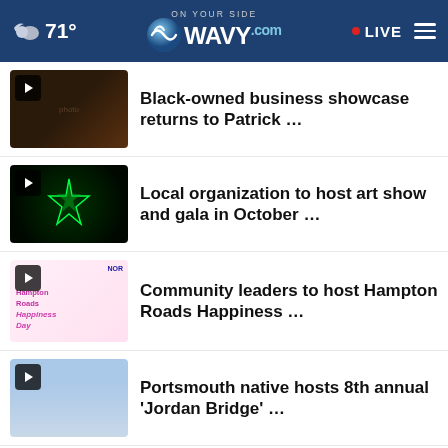71° WAVY.com LIVE
Black-owned business showcase returns to Patrick …
Local organization to host art show and gala in October …
Community leaders to host Hampton Roads Happiness …
Portsmouth native hosts 8th annual 'Jordan Bridge' …
How I got my student loans forgiven: Legal Director …
[Figure (screenshot): Advertisement banner: Roland x Kraft Music, V-Drums Acoustic Design, Open button]